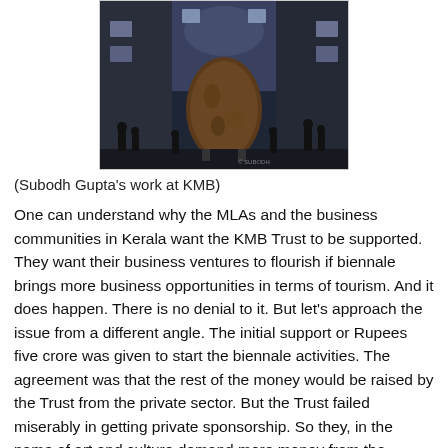[Figure (photo): A large egg-shaped sculpture being moved through a narrow alley between buildings at night, with several people standing around it. The scene is dimly lit with lights visible in the windows above.]
(Subodh Gupta's work at KMB)
One can understand why the MLAs and the business communities in Kerala want the KMB Trust to be supported. They want their business ventures to flourish if biennale brings more business opportunities in terms of tourism. And it does happen. There is no denial to it. But let's approach the issue from a different angle. The initial support or Rupees five crore was given to start the biennale activities. The agreement was that the rest of the money would be raised by the Trust from the private sector. But the Trust failed miserably in getting private sponsorship. So they, in the name of art and culture demand more money from the government. Even after the vigilance enquiry hanging on